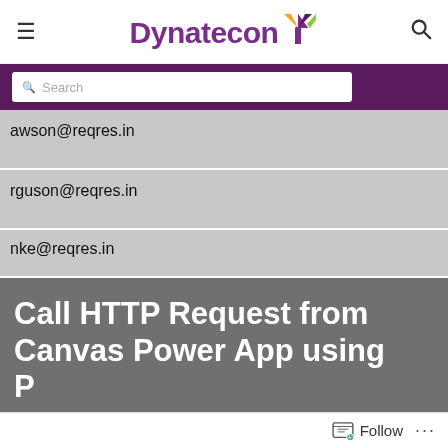[Figure (screenshot): Dynatecon website header with logo, hamburger menu, and search icon]
[Figure (screenshot): Dark purple search bar area with white search input box]
awson@reqres.in
rguson@reqres.in
nke@reqres.in (partial)
Call HTTP Request from Canvas Power App using Power Automate Flow – how to